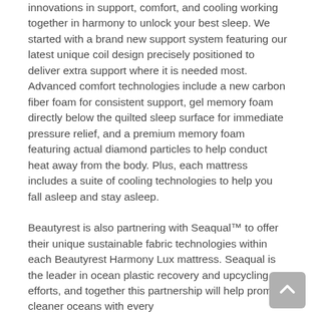innovations in support, comfort, and cooling working together in harmony to unlock your best sleep. We started with a brand new support system featuring our latest unique coil design precisely positioned to deliver extra support where it is needed most. Advanced comfort technologies include a new carbon fiber foam for consistent support, gel memory foam directly below the quilted sleep surface for immediate pressure relief, and a premium memory foam featuring actual diamond particles to help conduct heat away from the body. Plus, each mattress includes a suite of cooling technologies to help you fall asleep and stay asleep.
Beautyrest is also partnering with Seaqual™ to offer their unique sustainable fabric technologies within each Beautyrest Harmony Lux mattress. Seaqual is the leader in ocean plastic recovery and upcycling efforts, and together this partnership will help promote cleaner oceans with every